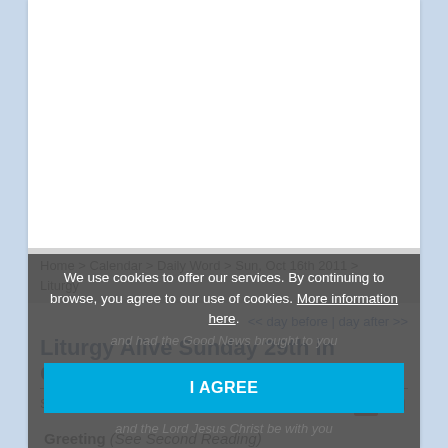Home > Calendar > Daily Word > Sun, Oct 16th 2011 > Liturgy
<< day before | day after >>
Liturgy Alive Sunday 29th in Ordinary Time
Sunday, October 16, 2011
Greeting (See Second Reading)
We use cookies to offer our services. By continuing to browse, you agree to our use of cookies. More information here.
I AGREE